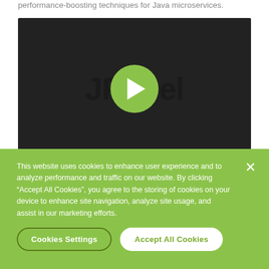performance-boosting techniques for Java microservices.
[Figure (screenshot): Video player with dark background showing JRebel logo and a green circular play button overlay in the center]
This website uses cookies to enhance user experience and to analyze performance and traffic on our website. By clicking “Accept All Cookies”, you agree to the storing of cookies on your device to enhance site navigation, analyze site usage, and assist in our marketing efforts.
Cookies Settings
Accept All Cookies